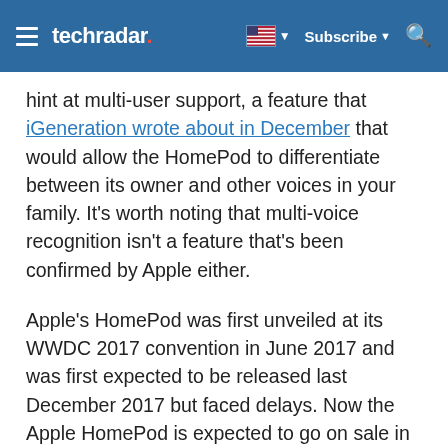techradar — Subscribe
hint at multi-user support, a feature that iGeneration wrote about in December that would allow the HomePod to differentiate between its owner and other voices in your family. It's worth noting that multi-voice recognition isn't a feature that's been confirmed by Apple either.
Apple's HomePod was first unveiled at its WWDC 2017 convention in June 2017 and was first expected to be released last December 2017 but faced delays. Now the Apple HomePod is expected to go on sale in February after news broke over the weekend that the smart speaker gained approval from the US Federal Communications Commission (FCC). However, there's been no official confirmation from Apple just yet